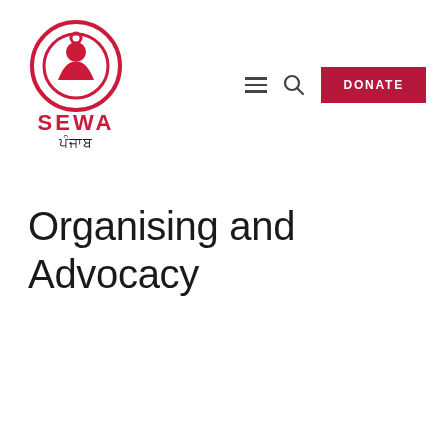[Figure (logo): SEWA Punjab logo: red circular emblem with stylized figure, red text 'SEWA' and Punjabi script below]
Navigation bar with hamburger menu, search icon, and DONATE button
Organising and Advocacy